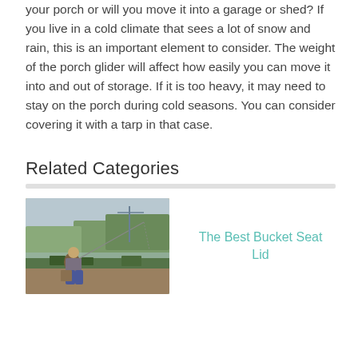your porch or will you move it into a garage or shed? If you live in a cold climate that sees a lot of snow and rain, this is an important element to consider. The weight of the porch glider will affect how easily you can move it into and out of storage. If it is too heavy, it may need to stay on the porch during cold seasons. You can consider covering it with a tarp in that case.
Related Categories
[Figure (photo): A person sitting on a bucket seat lid by a pond, fishing with a rod. Autumn outdoor scenery with trees and water in the background.]
The Best Bucket Seat Lid